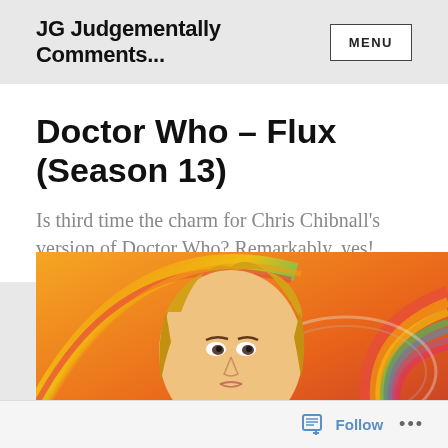JG Judgementally Comments...
Doctor Who – Flux (Season 13)
Is third time the charm for Chris Chibnall's version of Doctor Who? Remarkably, yes!
[Figure (illustration): Promotional image of the 13th Doctor (Jodie Whittaker) against a colorful swirling background with rainbow streaks and warm orange/yellow tones]
Follow ...